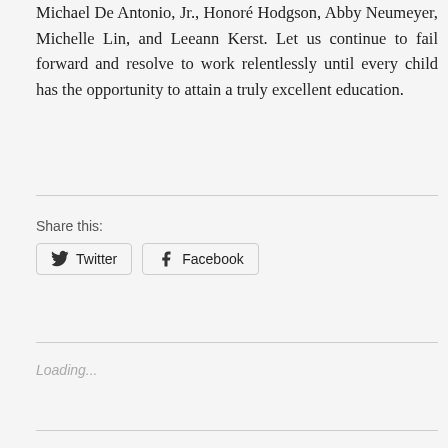Michael De Antonio, Jr., Honoré Hodgson, Abby Neumeyer, Michelle Lin, and Leeann Kerst. Let us continue to fail forward and resolve to work relentlessly until every child has the opportunity to attain a truly excellent education.
Share this:
[Figure (other): Twitter and Facebook share buttons]
Loading...